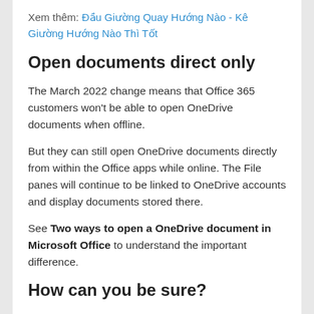Xem thêm: Đầu Giường Quay Hướng Nào - Kê Giường Hướng Nào Thì Tốt
Open documents direct only
The March 2022 change means that Office 365 customers won't be able to open OneDrive documents when offline.
But they can still open OneDrive documents directly from within the Office apps while online. The File panes will continue to be linked to OneDrive accounts and display documents stored there.
See Two ways to open a OneDrive document in Microsoft Office to understand the important difference.
How can you be sure?
Microsoft, to its shame, has not kept Office 365 customers informed about this change.